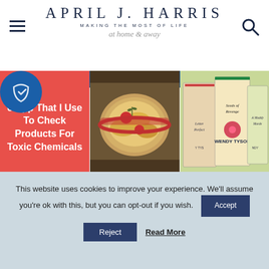APRIL J. HARRIS — MAKING THE MOST OF LIFE at home & away
[Figure (screenshot): Red card with white bold text: 'e App That I Use To Check Products For Toxic Chemicals']
The Free App I Use To Keep Toxic Chemicals Out Of
[Figure (photo): Bowl of scalloped potatoes with tomatoes and herbs]
Must-Have Scalloped Potatoes
[Figure (photo): Cozy mystery books by Wendy Tyson]
Cozy Mystery Series Giveaway - Win A Trio Of Books
This website uses cookies to improve your experience. We'll assume you're ok with this, but you can opt-out if you wish.
Accept
Reject
Read More